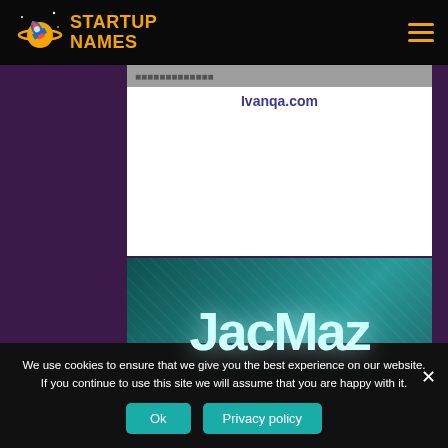[Figure (logo): Startup Names logo with planet/rocket icon and orange text]
Ivanqa.com
$1,290
[Figure (photo): JacMaz brand name text on dark teal background]
We use cookies to ensure that we give you the best experience on our website. If you continue to use this site we will assume that you are happy with it.
Ok
Privacy policy